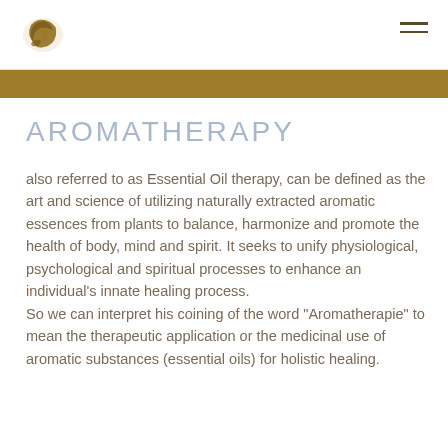[logo] [navigation menu icon]
AROMATHERAPY
also referred to as Essential Oil therapy, can be defined as the art and science of utilizing naturally extracted aromatic essences from plants to balance, harmonize and promote the health of body, mind and spirit. It seeks to unify physiological, psychological and spiritual processes to enhance an individual's innate healing process. So we can interpret his coining of the word "Aromatherapie" to mean the therapeutic application or the medicinal use of aromatic substances (essential oils) for holistic healing.